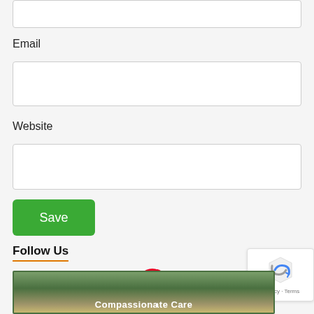[Figure (screenshot): Top input field (partially visible at top of page)]
Email
[Figure (screenshot): Email input text field]
Website
[Figure (screenshot): Website input text field]
[Figure (screenshot): Green Save button]
Follow Us
[Figure (infographic): Social media icons: Facebook, Twitter, Pinterest, YouTube, Instagram]
[Figure (screenshot): reCAPTCHA widget with Privacy and Terms text]
[Figure (photo): Bottom banner image with text 'Compassionate Care']